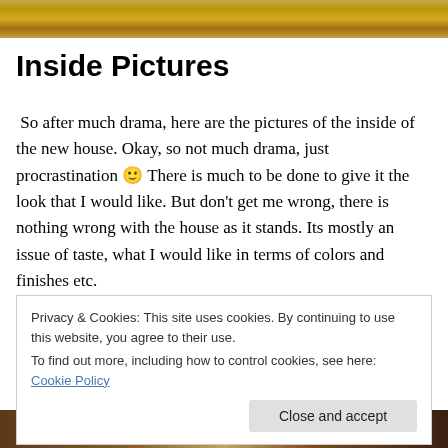[Figure (photo): Header image showing golden/brown dried grass or wheat field]
Inside Pictures
So after much drama, here are the pictures of the inside of the new house. Okay, so not much drama, just procrastination 🙂 There is much to be done to give it the look that I would like. But don't get me wrong, there is nothing wrong with the house as it stands. Its mostly an issue of taste, what I would like in terms of colors and finishes etc.
Privacy & Cookies: This site uses cookies. By continuing to use this website, you agree to their use.
To find out more, including how to control cookies, see here: Cookie Policy
Close and accept
[Figure (photo): Bottom partial image showing interior room photographs]